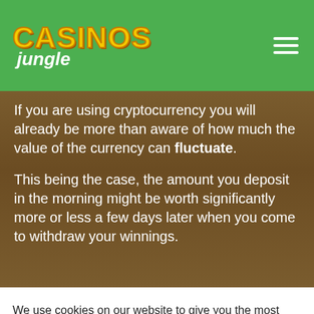Casinos Jungle
If you are using cryptocurrency you will already be more than aware of how much the value of the currency can fluctuate.
This being the case, the amount you deposit in the morning might be worth significantly more or less a few days later when you come to withdraw your winnings.
We use cookies on our website to give you the most relevant experience by remembering your preferences and repeat visits. By clicking “Accept”, you consent to the use of ALL the cookies.
Cookie settings
ACCEPT